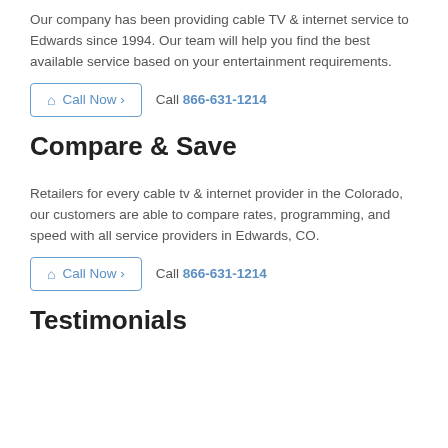Our company has been providing cable TV & internet service to Edwards since 1994. Our team will help you find the best available service based on your entertainment requirements.
Call Now › Call 866-631-1214
Compare & Save
Retailers for every cable tv & internet provider in the Colorado, our customers are able to compare rates, programming, and speed with all service providers in Edwards, CO.
Call Now › Call 866-631-1214
Testimonials